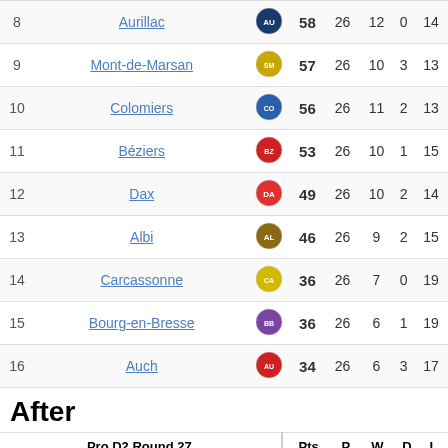|  | Pro D2 Round 26 |  | Pts | P. | W. | D. | L. |
| --- | --- | --- | --- | --- | --- | --- | --- |
| 8 | Aurillac |  | 58 | 26 | 12 | 0 | 14 |
| 9 | Mont-de-Marsan |  | 57 | 26 | 10 | 3 | 13 |
| 10 | Colomiers |  | 56 | 26 | 11 | 2 | 13 |
| 11 | Béziers |  | 53 | 26 | 10 | 1 | 15 |
| 12 | Dax |  | 49 | 26 | 10 | 2 | 14 |
| 13 | Albi |  | 46 | 26 | 9 | 2 | 15 |
| 14 | Carcassonne |  | 36 | 26 | 7 | 0 | 19 |
| 15 | Bourg-en-Bresse |  | 36 | 26 | 6 | 1 | 19 |
| 16 | Auch |  | 34 | 26 | 6 | 3 | 17 |
After
|  | Pro D2 Round 27 |  | Pts | P. | W. | D. | L. |
| --- | --- | --- | --- | --- | --- | --- | --- |
| 1 | Lyon |  | 104 | 27 | 22 | 0 | 5 |
| 2 | La Rochelle |  | 91 | 27 | 20 | 1 | 6 |
| 3 | Agen |  | 89 | 27 | 19 | 0 | 8 |